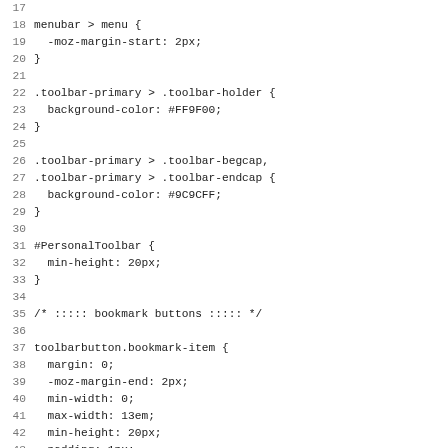Code listing lines 17–49 of a CSS file showing toolbar and bookmark button styles